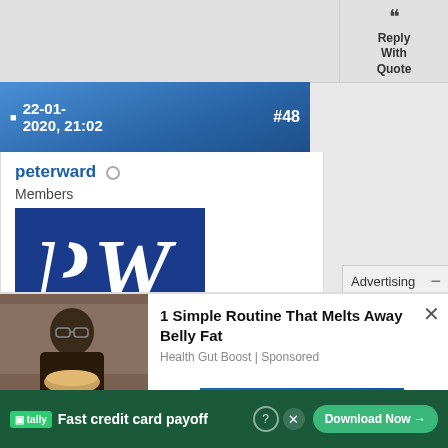[Figure (screenshot): Reply With Quote button with speech bubble icon]
22-01-2020, 21:02   #48
peterward
Members
[Figure (logo): PW logo - Publisher's Weekly blue logo with white PW letters]
| Join Date: | Nov 2009 |
| --- | --- |
Advertising
[Figure (photo): Person wearing glasses holding a bowl of food]
1 Simple Routine That Melts Away Belly Fat
Health Gut Boost | Sponsored
FIND SUV DEA...
Fast credit card payoff
Download Now →